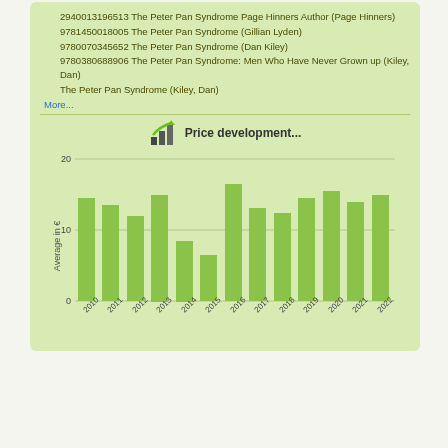2940013196513 The Peter Pan Syndrome Page Hinners Author (Page Hinners)
9781450018005 The Peter Pan Syndrome (Gillian Lyden)
9780070345652 The Peter Pan Syndrome (Dan Kiley)
9780380688906 The Peter Pan Syndrome: Men Who Have Never Grown up (Kiley, Dan)
The Peter Pan Syndrome (Kiley, Dan)
More...
[Figure (bar-chart): Price development...]